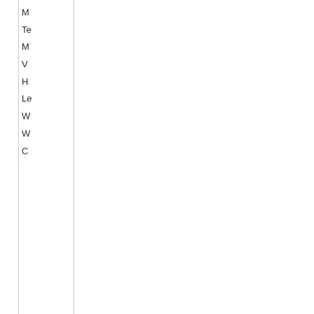[Figure (other): Partial screenshot of a vertical list/table with truncated text entries starting with letters M, Te, M, V, H, Le, W, W, C — clipped on the right side, showing only the left edge of a white panel with dark text]
[Figure (other): Small UI element showing a white/light bar with a dark red horizontal line beneath it — resembling a rating bar or slider icon]
Customers who bought this product bought also the following products: